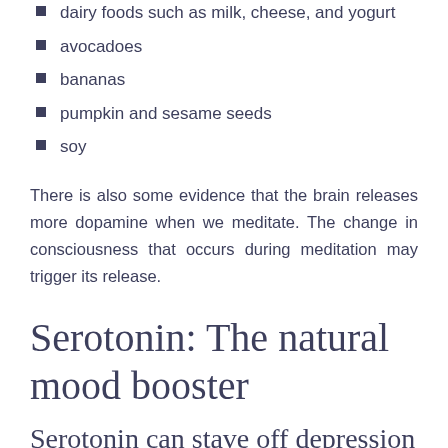dairy foods such as milk, cheese, and yogurt
avocadoes
bananas
pumpkin and sesame seeds
soy
There is also some evidence that the brain releases more dopamine when we meditate. The change in consciousness that occurs during meditation may trigger its release.
Serotonin: The natural mood booster
Serotonin can stave off depression and provide a feeling of euphoria.